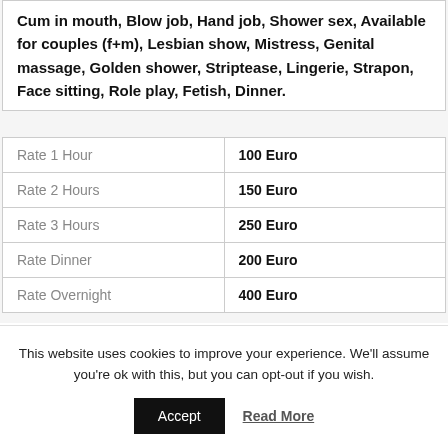Cum in mouth, Blow job, Hand job, Shower sex, Available for couples (f+m), Lesbian show, Mistress, Genital massage, Golden shower, Striptease, Lingerie, Strapon, Face sitting, Role play, Fetish, Dinner.
| Rate Type | Price |
| --- | --- |
| Rate 1 Hour | 100 Euro |
| Rate 2 Hours | 150 Euro |
| Rate 3 Hours | 250 Euro |
| Rate Dinner | 200 Euro |
| Rate Overnight | 400 Euro |
This website uses cookies to improve your experience. We'll assume you're ok with this, but you can opt-out if you wish.